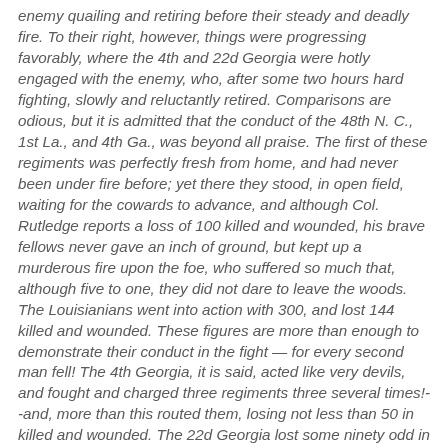enemy quailing and retiring before their steady and deadly fire. To their right, however, things were progressing favorably, where the 4th and 22d Georgia were hotly engaged with the enemy, who, after some two hours hard fighting, slowly and reluctantly retired. Comparisons are odious, but it is admitted that the conduct of the 48th N. C., 1st La., and 4th Ga., was beyond all praise. The first of these regiments was perfectly fresh from home, and had never been under fire before; yet there they stood, in open field, waiting for the cowards to advance, and although Col. Rutledge reports a loss of 100 killed and wounded, his brave fellows never gave an inch of ground, but kept up a murderous fire upon the foe, who suffered so much that, although five to one, they did not dare to leave the woods. The Louisianians went into action with 300, and lost 144 killed and wounded. These figures are more than enough to demonstrate their conduct in the fight — for every second man fell! The 4th Georgia, it is said, acted like very devils, and fought and charged three regiments three several times!--and, more than this routed them, losing not less than 50 in killed and wounded. The 22d Georgia lost some ninety odd in killed and wounded, and behaved splendidly.